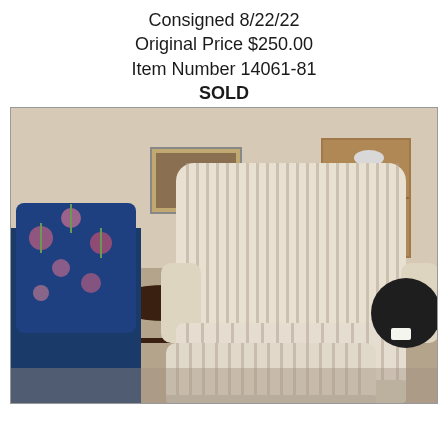Consigned 8/22/22
Original Price $250.00
Item Number 14061-81
SOLD
[Figure (photo): Photo of a striped upholstered armchair with matching ottoman in cream and tan stripes, displayed in a consignment furniture store. A blue floral wingback chair is visible on the left, and a dark wood side table with a white lamp is in the background.]